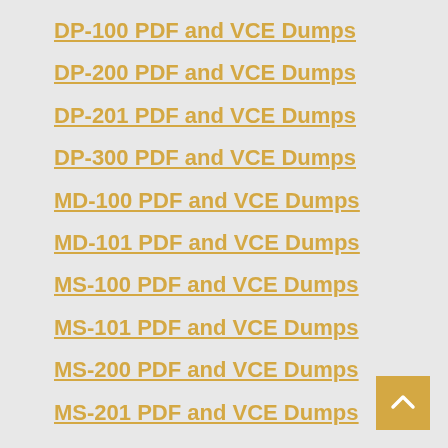DP-100 PDF and VCE Dumps
DP-200 PDF and VCE Dumps
DP-201 PDF and VCE Dumps
DP-300 PDF and VCE Dumps
MD-100 PDF and VCE Dumps
MD-101 PDF and VCE Dumps
MS-100 PDF and VCE Dumps
MS-101 PDF and VCE Dumps
MS-200 PDF and VCE Dumps
MS-201 PDF and VCE Dumps